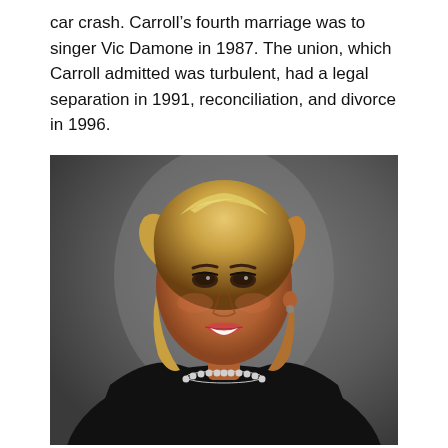car crash. Carroll's fourth marriage was to singer Vic Damone in 1987. The union, which Carroll admitted was turbulent, had a legal separation in 1991, reconciliation, and divorce in 1996.
[Figure (photo): Portrait photograph of a woman with blonde bob hairstyle wearing a black top and pearl necklace, smiling, against a grey background.]